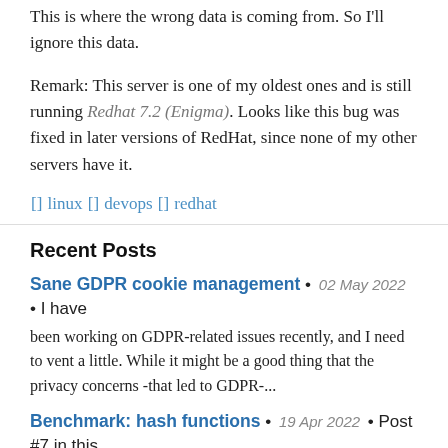This is where the wrong data is coming from. So I'll ignore this data.
Remark: This server is one of my oldest ones and is still running Redhat 7.2 (Enigma). Looks like this bug was fixed in later versions of RedHat, since none of my other servers have it.
[] linux [] devops [] redhat
Recent Posts
Sane GDPR cookie management • 02 May 2022 • I have been working on GDPR-related issues recently, and I need to vent a little. While it might be a good thing that the privacy concerns -that led to GDPR-...
Benchmark: hash functions • 19 Apr 2022 • Post #7 in this bash benchmark series, measuring the speed of common bash text manipulations...